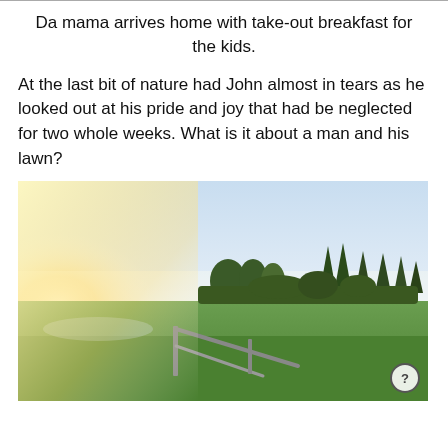Da mama arrives home with take-out breakfast for the kids.
At the last bit of nature had John almost in tears as he looked out at his pride and joy that had be neglected for two whole weeks. What is it about a man and his lawn?
[Figure (photo): Outdoor photograph of a green lawn/field on a misty morning with bright sunlight on the left side. Trees and hedges are visible in the background. A fallen metal gate or fence structure is visible in the foreground on the grass. The sky is light blue and hazy.]